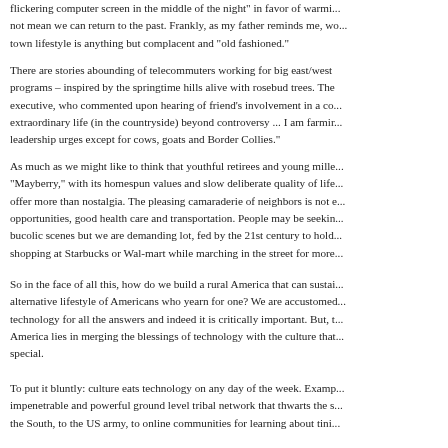flickering computer screen in the middle of the night" in favor of warm... not mean we can return to the past. Frankly, as my father reminds me, w... town lifestyle is anything but complacent and "old fashioned."
There are stories abounding of telecommuters working for big east/west programs – inspired by the springtime hills alive with rosebud trees. The executive, who commented upon hearing of friend's involvement in a co... extraordinary life (in the countryside) beyond controversy ... I am farmir leadership urges except for cows, goats and Border Collies.
As much as we might like to think that youthful retirees and young mille "Mayberry," with its homespun values and slow deliberate quality of life offer more than nostalgia. The pleasing camaraderie of neighbors is not e opportunities, good health care and transportation. People may be seekin bucolic scenes but we are demanding lot, fed by the 21st century to hold shopping at Starbucks or Wal-mart while marching in the street for more
So in the face of all this, how do we build a rural America that can sustai alternative lifestyle of Americans who yearn for one? We are accustomed technology for all the answers and indeed it is critically important. But, t America lies in merging the blessings of technology with the culture that special.
To put it bluntly: culture eats technology on any day of the week. Examp impenetrable and powerful ground level tribal network that thwarts the s the South, to the US army, to online communities for learning about tini...